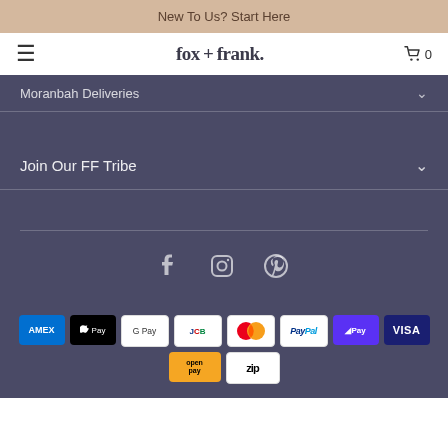New To Us? Start Here
fox + frank.
Moranbah Deliveries
Join Our FF Tribe
[Figure (other): Social media icons: Facebook, Instagram, Pinterest]
[Figure (other): Payment method badges: AMEX, Apple Pay, Google Pay, JCB, Mastercard, PayPal, ShopPay, Visa, OpenPay, Zip]